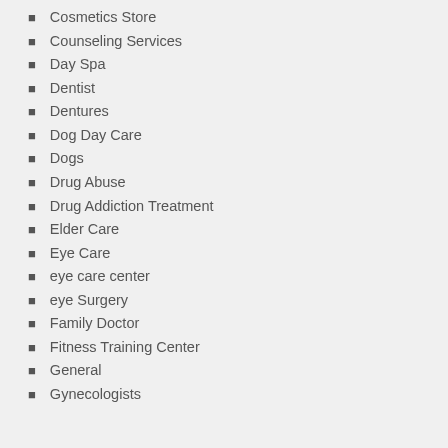Cosmetics Store
Counseling Services
Day Spa
Dentist
Dentures
Dog Day Care
Dogs
Drug Abuse
Drug Addiction Treatment
Elder Care
Eye Care
eye care center
eye Surgery
Family Doctor
Fitness Training Center
General
Gynecologists